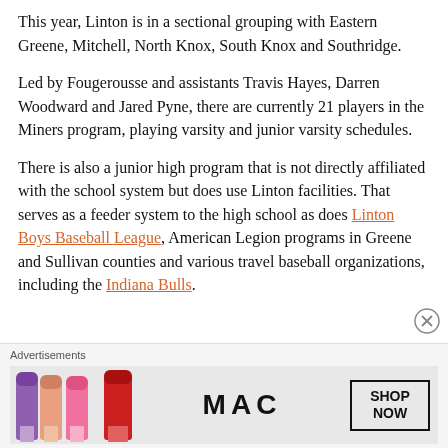This year, Linton is in a sectional grouping with Eastern Greene, Mitchell, North Knox, South Knox and Southridge.
Led by Fougerousse and assistants Travis Hayes, Darren Woodward and Jared Pyne, there are currently 21 players in the Miners program, playing varsity and junior varsity schedules.
There is also a junior high program that is not directly affiliated with the school system but does use Linton facilities. That serves as a feeder system to the high school as does Linton Boys Baseball League, American Legion programs in Greene and Sullivan counties and various travel baseball organizations, including the Indiana Bulls.
Advertisements
[Figure (other): MAC Cosmetics advertisement showing lipsticks and SHOP NOW button]